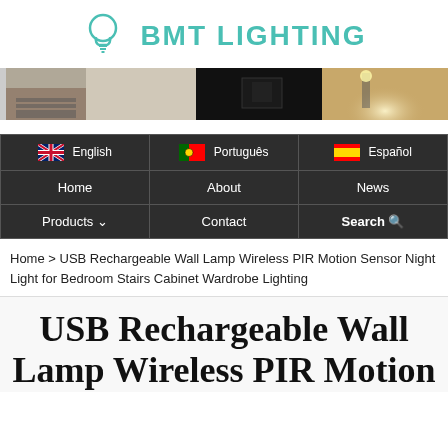[Figure (logo): BMT Lighting logo with light bulb icon in teal/cyan color]
[Figure (photo): Banner image strip showing product lighting scenes — staircase, dark room, and warm lit space]
| [UK Flag] English | [Portugal Flag] Português | [Spain Flag] Español |
| Home | About | News |
| Products ∨ | Contact | Search 🔍 |
Home > USB Rechargeable Wall Lamp Wireless PIR Motion Sensor Night Light for Bedroom Stairs Cabinet Wardrobe Lighting
USB Rechargeable Wall Lamp Wireless PIR Motion